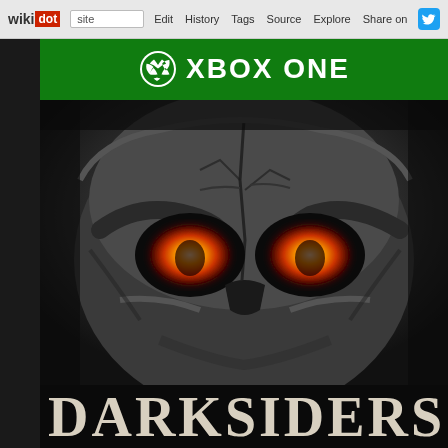wikidot | site | Edit | History | Tags | Source | Explore | Share on Twitter
[Figure (screenshot): Xbox One game box art for Darksiders II showing green Xbox One banner at top, a close-up illustration of Death's skull face with glowing red-orange eyes on a dark background, and the DARKSIDERS logo text at the bottom, displayed on a wikidot browser page]
DARKSIDERS